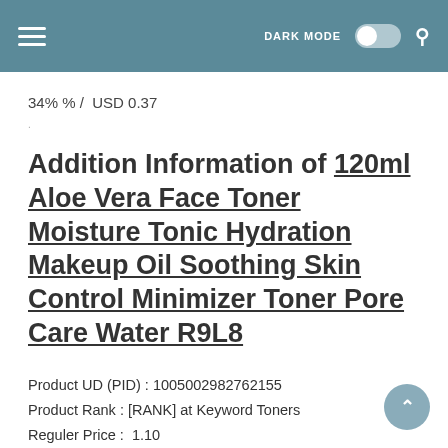DARK MODE [toggle] [search]
34% % /  USD 0.37
.
Addition Information of 120ml Aloe Vera Face Toner Moisture Tonic Hydration Makeup Oil Soothing Skin Control Minimizer Toner Pore Care Water R9L8
Product UD (PID) : 1005002982762155
Product Rank : [RANK] at Keyword Toners
Reguler Price :  1.10
Discount Price : 0.73